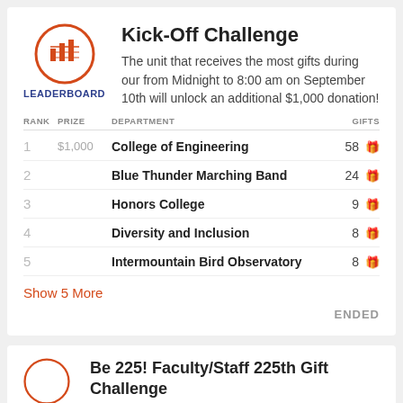[Figure (logo): Orange circle with leaderboard/bar chart icon and LEADERBOARD label in blue below]
Kick-Off Challenge
The unit that receives the most gifts during our from Midnight to 8:00 am on September 10th will unlock an additional $1,000 donation!
| RANK | PRIZE | DEPARTMENT | GIFTS |
| --- | --- | --- | --- |
| 1 | $1,000 | College of Engineering | 58 🎁 |
| 2 |  | Blue Thunder Marching Band | 24 🎁 |
| 3 |  | Honors College | 9 🎁 |
| 4 |  | Diversity and Inclusion | 8 🎁 |
| 5 |  | Intermountain Bird Observatory | 8 🎁 |
Show 5 More
ENDED
Be 225! Faculty/Staff 225th Gift Challenge